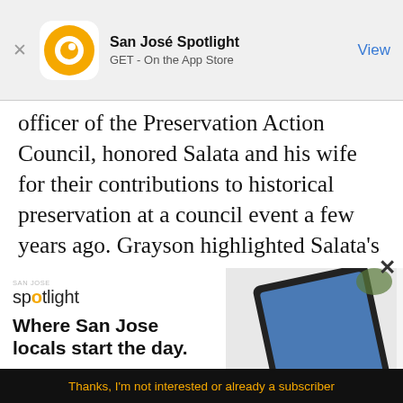[Figure (screenshot): App store banner for San José Spotlight app with orange circular logo, app name, 'GET - On the App Store' subtitle, and blue 'View' button on right]
officer of the Preservation Action Council, honored Salata and his wife for their contributions to historical preservation at a council event a few years ago. Grayson highlighted Salata's
[Figure (screenshot): San José Spotlight advertisement showing logo, headline 'Where San Jose locals start the day.' sanjosespotlight.com URL, and image of tablet and coffee cup on right side, with X close button]
[Figure (screenshot): Black subscribe section with white email address input box with envelope icon and EMAIL ADDRESS placeholder text, orange SUBSCRIBE button, and gold 'Thanks, I'm not interested or already a subscriber' link text]